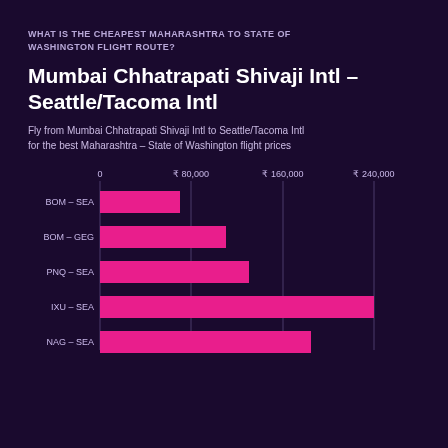WHAT IS THE CHEAPEST MAHARASHTRA TO STATE OF WASHINGTON FLIGHT ROUTE?
Mumbai Chhatrapati Shivaji Intl – Seattle/Tacoma Intl
Fly from Mumbai Chhatrapati Shivaji Intl to Seattle/Tacoma Intl for the best Maharashtra – State of Washington flight prices
[Figure (bar-chart): Flight routes by price]